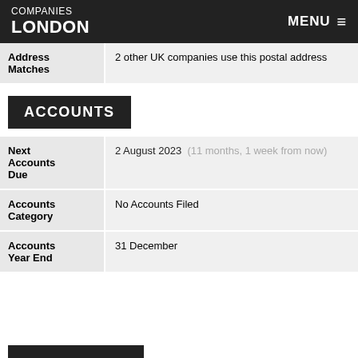COMPANIES LONDON   MENU
| Field | Value |
| --- | --- |
| Address Matches | 2 other UK companies use this postal address |
ACCOUNTS
| Field | Value |
| --- | --- |
| Next Accounts Due | 2 August 2023  (11 months, 1 week from now) |
| Accounts Category | No Accounts Filed |
| Accounts Year End | 31 December |